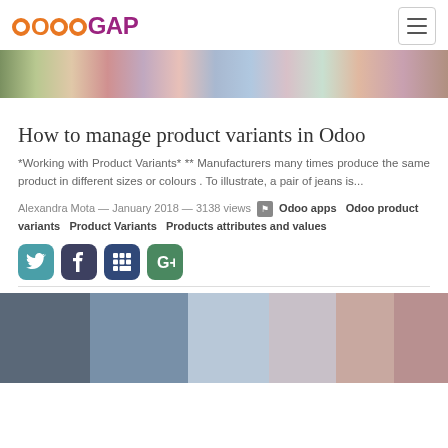OdooGAP navigation header
[Figure (photo): Top banner photo showing colorful clothing items hanging on a rack]
How to manage product variants in Odoo
*Working with Product Variants* ** Manufacturers many times produce the same product in different sizes or colours . To illustrate, a pair of jeans is...
Alexandra Mota — January 2018 — 3138 views  Odoo apps  Odoo product variants  Product Variants  Products attributes and values
[Figure (other): Social media sharing icons: Twitter, Facebook, LinkedIn, Google+]
[Figure (photo): Bottom photo showing two people wearing casual striped clothing]